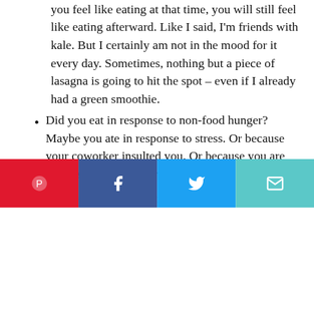you feel like eating at that time, you will still feel like eating afterward. Like I said, I'm friends with kale. But I certainly am not in the mood for it every day. Sometimes, nothing but a piece of lasagna is going to hit the spot – even if I already had a green smoothie.
Did you eat in response to non-food hunger? Maybe you ate in response to stress. Or because your coworker insulted you. Or because you are procrastinating on a project.
Everyone starts to think of the t... [partially visible, obscured by cookie banner]
This website uses cookies to ensure you get the best experience on our website. Learn more
Got it!
Pinterest | Facebook | Twitter | Email